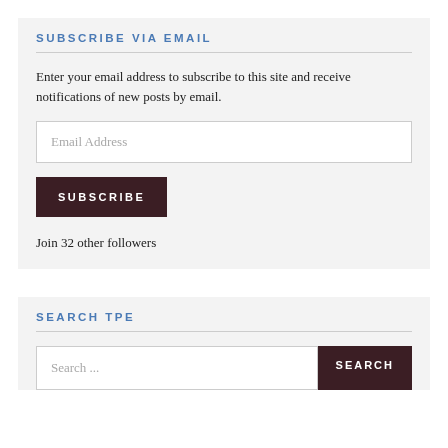SUBSCRIBE VIA EMAIL
Enter your email address to subscribe to this site and receive notifications of new posts by email.
Email Address
SUBSCRIBE
Join 32 other followers
SEARCH TPE
Search ...
SEARCH